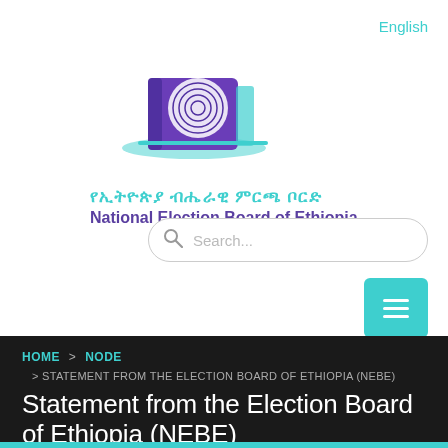English
[Figure (logo): National Election Board of Ethiopia logo — a purple fingerprint book with a teal ballot slot, with Amharic text and English text below]
Search...
HOME > NODE
> STATEMENT FROM THE ELECTION BOARD OF ETHIOPIA (NEBE)
Statement from the Election Board of Ethiopia (NEBE)